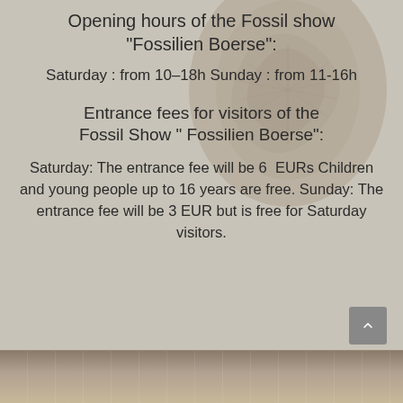Opening hours of the Fossil show “Fossilien Boerse”:
Saturday : from 10–18h Sunday : from 11-16h
Entrance fees for visitors of the Fossil Show ” Fossilien Boerse”:
Saturday: The entrance fee will be 6  EURs Children and young people up to 16 years are free. Sunday: The entrance fee will be 3 EUR but is free for Saturday visitors.